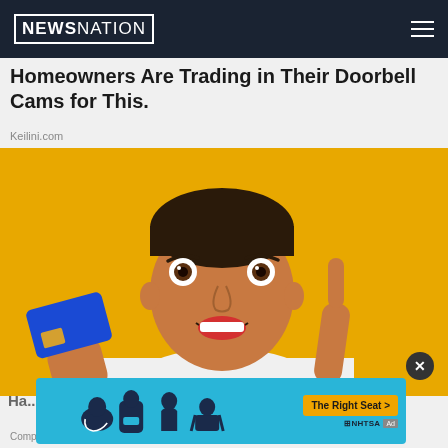NEWSNATION
Homeowners Are Trading in Their Doorbell Cams for This.
Keilini.com
[Figure (photo): Young man with surprised/excited expression on yellow background, holding a blue credit card and pointing one finger up, wearing white t-shirt]
[Figure (infographic): NHTSA 'The Right Seat' ad banner on blue background with car seat safety icons]
Ha... 2
CompareCredit